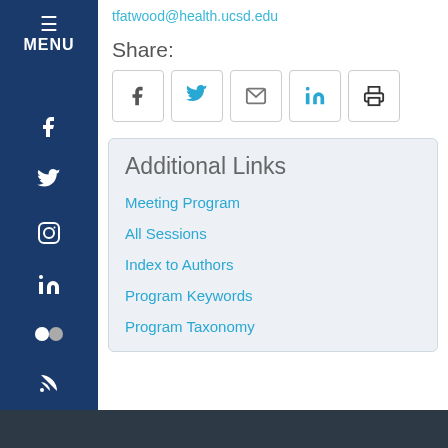tfatwood@health.ucsd.edu
Share:
[Figure (other): Social share buttons: Facebook, Twitter, Email, LinkedIn, Print]
Additional Links
Meeting Program
All Sessions
Index to Authors
Program Keywords
Program Taxonomy